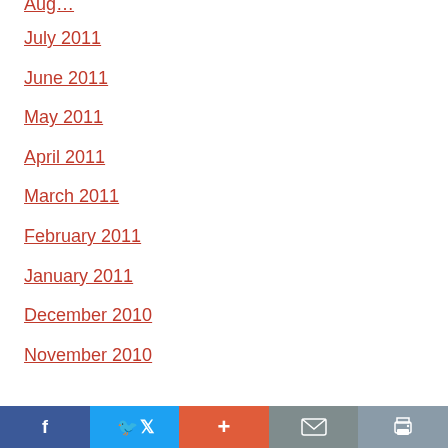July 2011
June 2011
May 2011
April 2011
March 2011
February 2011
January 2011
December 2010
November 2010
f  [Twitter]  +  [Mail]  [Print]